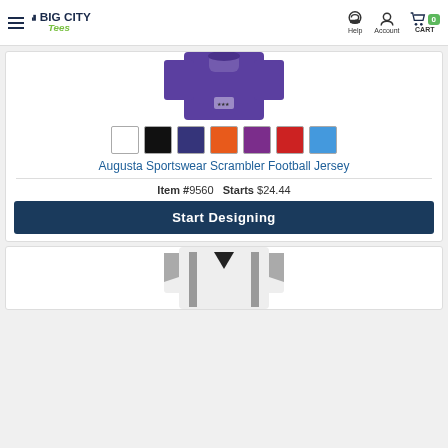Big City Tees — Help | Account | CART 0
[Figure (photo): Purple football jersey product photo (top portion visible)]
[Figure (infographic): Color swatches: white, black, navy, orange, purple, red, blue]
Augusta Sportswear Scrambler Football Jersey
Item #9560   Starts $24.44
Start Designing
[Figure (photo): White and black football jersey product photo (bottom portion)]